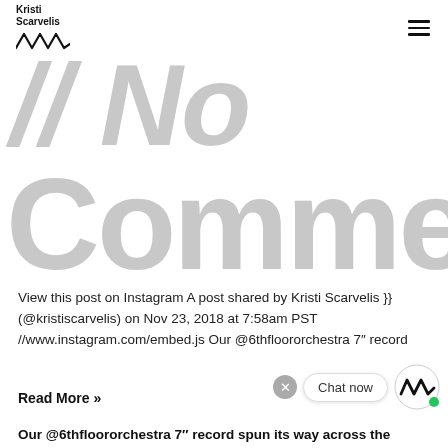Kristi Scarvelis [logo with wave graphic] [hamburger menu]
// No Comment
View this post on Instagram A post shared by Kristi Scarvelis }} (@kristiscarvelis) on Nov 23, 2018 at 7:58am PST //www.instagram.com/embed.js Our @6thfloororchestra 7" record
Read More »
[Figure (logo): Chat now widget with X button, chat bubble saying 'Chat now', and circular logo with wave mark and green dot]
Our @6thfloororchestra 7" record spun its way across the